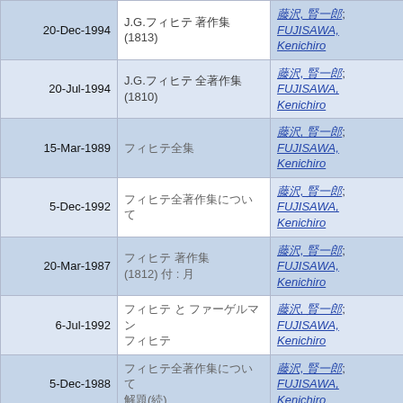| Date | Title | Author |
| --- | --- | --- |
| 20-Dec-1994 | J.G.フィヒテ 著作集 (1813) | 藤沢, 賢一郎; FUJISAWA, Kenichiro |
| 20-Jul-1994 | J.G.フィヒテ 全著作集 (1810) | 藤沢, 賢一郎; FUJISAWA, Kenichiro |
| 15-Mar-1989 | フィヒテ全集 | 藤沢, 賢一郎; FUJISAWA, Kenichiro |
| 5-Dec-1992 | フィヒテ全著作集について | 藤沢, 賢一郎; FUJISAWA, Kenichiro |
| 20-Mar-1987 | フィヒテ 著作集 (1812) 付 : 月 | 藤沢, 賢一郎; FUJISAWA, Kenichiro |
| 6-Jul-1992 | フィヒテ と ファーゲルマン フィヒテ | 藤沢, 賢一郎; FUJISAWA, Kenichiro |
| 5-Dec-1988 | フィヒテ全著作集について 解題(続) | 藤沢, 賢一郎; FUJISAWA, Kenichiro |
|  | フィヒテ(1810) と | 藤沢, |